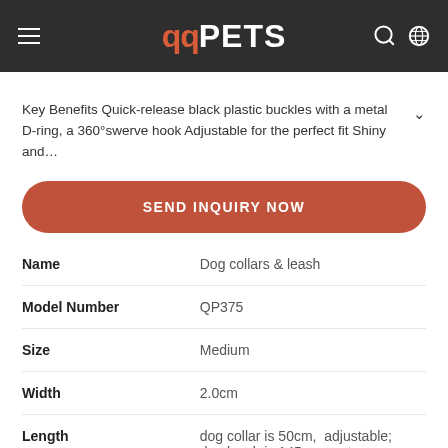QQPETS
Key Benefits Quick-release black plastic buckles with a metal D-ring, a 360°swerve hook Adjustable for the perfect fit Shiny and…
SEND INQUIRY NOW
| Attribute | Value |
| --- | --- |
| Name | Dog collars & leash |
| Model Number | QP375 |
| Size | Medium |
| Width | 2.0cm |
| Length | dog collar is 50cm,  adjustable; dog leash is 145cm,  not includes the hook |
| Material | Polyester |